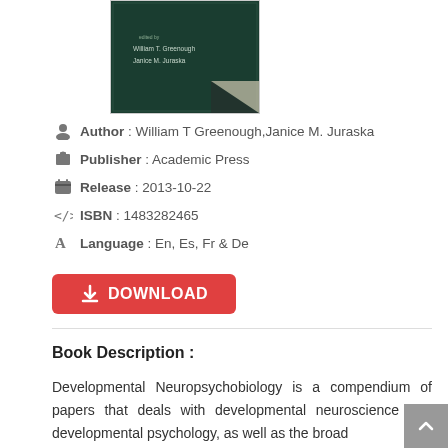[Figure (photo): Book cover with dark green background showing author names William T. Greenough and Janice M. Juraska]
Author : William T Greenough,Janice M. Juraska
Publisher : Academic Press
Release : 2013-10-22
ISBN : 1483282465
Language : En, Es, Fr & De
[Figure (other): Red DOWNLOAD button with download icon]
Book Description :
Developmental Neuropsychobiology is a compendium of papers that deals with developmental neuroscience and developmental psychology, as well as the broad